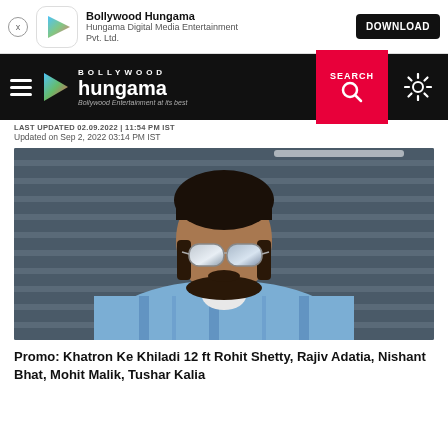Bollywood Hungama | Hungama Digital Media Entertainment Pvt. Ltd. | DOWNLOAD
BOLLYWOOD hungama | Bollywood Entertainment at its best | SEARCH
LAST UPDATED 02.09.2022 | 11:54 PM IST
Updated on Sep 2, 2022 03:14 PM IST
[Figure (photo): Man wearing mirrored sunglasses and a blue and white plaid shirt, looking sideways, outdoors with a corrugated metal background.]
Promo: Khatron Ke Khiladi 12 ft Rohit Shetty, Rajiv Adatia, Nishant Bhat, Mohit Malik, Tushar Kalia